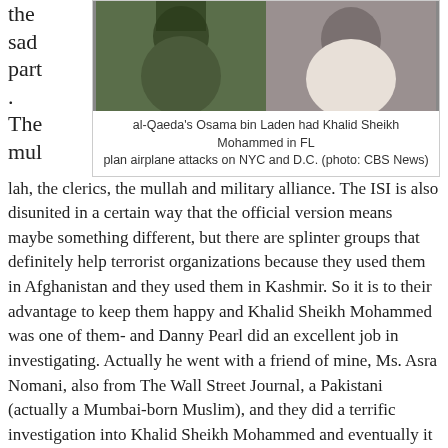the sad part.
[Figure (photo): Two photos side by side: al-Qaeda's Osama bin Laden and Khalid Sheikh Mohammed]
al-Qaeda's Osama bin Laden had Khalid Sheikh Mohammed in FL plan airplane attacks on NYC and D.C. (photo: CBS News)
The mullah, the clerics, the mullah and military alliance. The ISI is also disunited in a certain way that the official version means maybe something different, but there are splinter groups that definitely help terrorist organizations because they used them in Afghanistan and they used them in Kashmir. So it is to their advantage to keep them happy and Khalid Sheikh Mohammed was one of them- and Danny Pearl did an excellent job in investigating. Actually he went with a friend of mine, Ms. Asra Nomani, also from The Wall Street Journal, a Pakistani (actually a Mumbai-born Muslim), and they did a terrific investigation into Khalid Sheikh Mohammed and eventually it ended up in not very pleasant circumstances.
Q: Why in your view did they
[Figure (photo): Dark photo at bottom of page, partially visible]